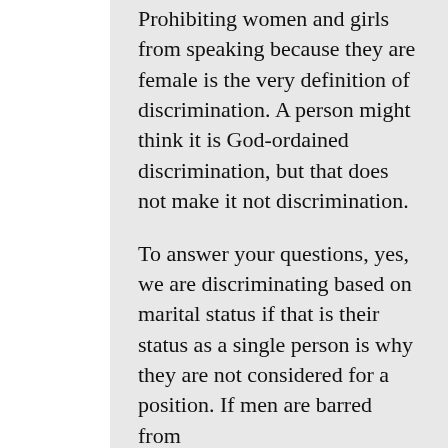Prohibiting women and girls from speaking because they are female is the very definition of discrimination. A person might think it is God-ordained discrimination, but that does not make it not discrimination.
To answer your questions, yes, we are discriminating based on marital status if that is their status as a single person is why they are not considered for a position. If men are barred from